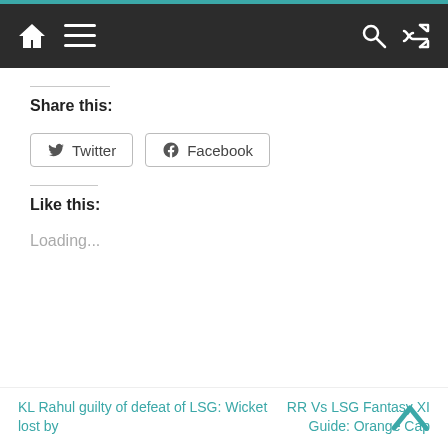Navigation bar with home, menu, search, and shuffle icons
Share this:
Twitter | Facebook (share buttons)
Like this:
Loading...
KL Rahul guilty of defeat of LSG: Wicket lost by
RR Vs LSG Fantasy XI Guide: Orange Cap